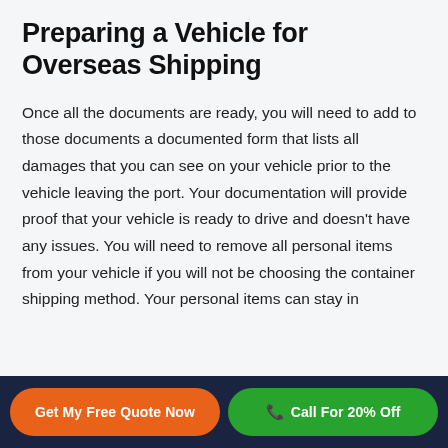Preparing a Vehicle for Overseas Shipping
Once all the documents are ready, you will need to add to those documents a documented form that lists all damages that you can see on your vehicle prior to the vehicle leaving the port. Your documentation will provide proof that your vehicle is ready to drive and doesn't have any issues. You will need to remove all personal items from your vehicle if you will not be choosing the container shipping method. Your personal items can stay in
Get My Free Quote Now | Call For 20% Off